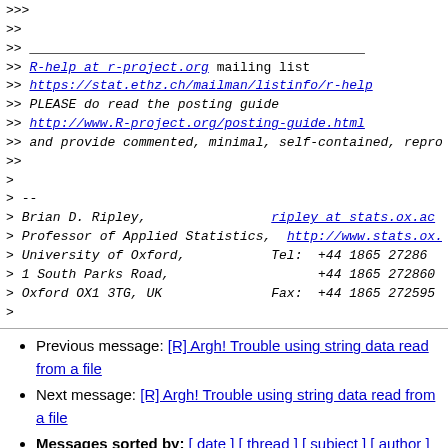>>> what is the problem that you are trying to solve?
>>
>>
>> ___
>> R-help at r-project.org mailing list
>> https://stat.ethz.ch/mailman/listinfo/r-help
>> PLEASE do read the posting guide
>> http://www.R-project.org/posting-guide.html
>> and provide commented, minimal, self-contained, repro
>>
>
> --
> Brian D. Ripley,                ripley at stats.ox.ac
> Professor of Applied Statistics,  http://www.stats.ox.a
> University of Oxford,           Tel:  +44 1865 27286
> 1 South Parks Road,                   +44 1865 272860
> Oxford OX1 3TG, UK              Fax:  +44 1865 272595
>
Previous message: [R] Argh! Trouble using string data read from a file
Next message: [R] Argh! Trouble using string data read from a file
Messages sorted by: [ date ] [ thread ] [ subject ] [ author ]
More information about the R-help mailing list